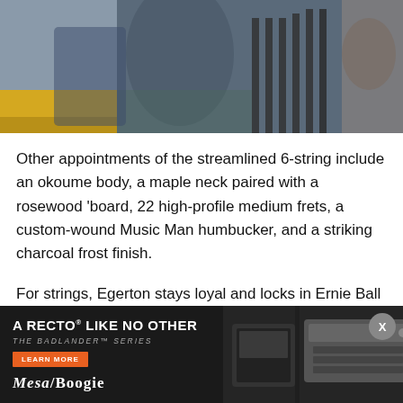[Figure (photo): Close-up photo of a guitar body and neck area, showing guitar hardware in grayscale tones with a yellow/orange accent at the bottom left]
Other appointments of the streamlined 6-string include an okoume body, a maple neck paired with a rosewood 'board, 22 high-profile medium frets, a custom-wound Music Man humbucker, and a striking charcoal frost finish.
For strings, Egerton stays loyal and locks in Ernie Ball Power Slinkys (.011-.048), while he opts for custom-made Dunlop Celluloid Shell Heavy picks featuring a portrait of himself done by his young son.
Blasting Off With Blackstar
[Figure (photo): Mesa/Boogie advertisement: A Recto like no other – The Badlander Series. Learn More button. Mesa/Boogie logo. Guitar and amplifier head visible on right side.]